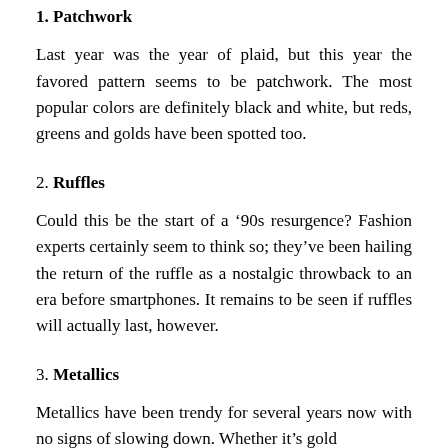1. Patchwork
Last year was the year of plaid, but this year the favored pattern seems to be patchwork. The most popular colors are definitely black and white, but reds, greens and golds have been spotted too.
2. Ruffles
Could this be the start of a ’90s resurgence? Fashion experts certainly seem to think so; they’ve been hailing the return of the ruffle as a nostalgic throwback to an era before smartphones. It remains to be seen if ruffles will actually last, however.
3. Metallics
Metallics have been trendy for several years now with no signs of slowing down. Whether it’s gold